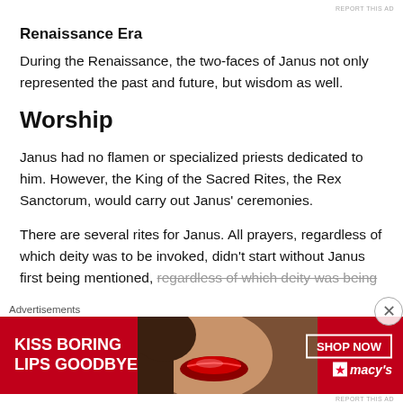REPORT THIS AD
Renaissance Era
During the Renaissance, the two-faces of Janus not only represented the past and future, but wisdom as well.
Worship
Janus had no flamen or specialized priests dedicated to him. However, the King of the Sacred Rites, the Rex Sanctorum, would carry out Janus’ ceremonies.
There are several rites for Janus. All prayers, regardless of which deity was to be invoked, didn't start without Janus first being mentioned, regardless of which deity was being
Advertisements
[Figure (photo): Macy's advertisement banner: 'KISS BORING LIPS GOODBYE' with SHOP NOW button and Macy's star logo on red background with woman's face/lips photo]
REPORT THIS AD